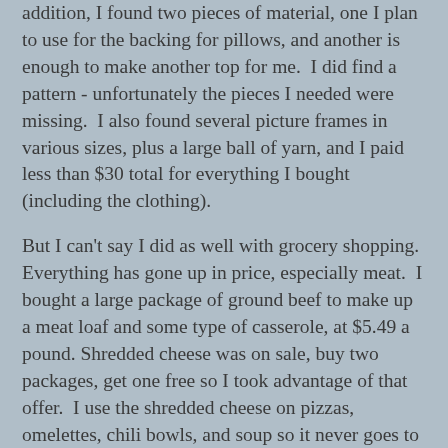addition, I found two pieces of material, one I plan to use for the backing for pillows, and another is enough to make another top for me.  I did find a pattern - unfortunately the pieces I needed were missing.  I also found several picture frames in various sizes, plus a large ball of yarn, and I paid less than $30 total for everything I bought (including the clothing).
But I can't say I did as well with grocery shopping.  Everything has gone up in price, especially meat.  I bought a large package of ground beef to make up a meat loaf and some type of casserole, at $5.49 a pound. Shredded cheese was on sale, buy two packages, get one free so I took advantage of that offer.  I use the shredded cheese on pizzas, omelettes, chili bowls, and soup so it never goes to waste.
After my visit to VV, I made a quick stop at a couple of dollar stores to pick up some seasonal items.  I've been spending some time every evening in my craft room. The